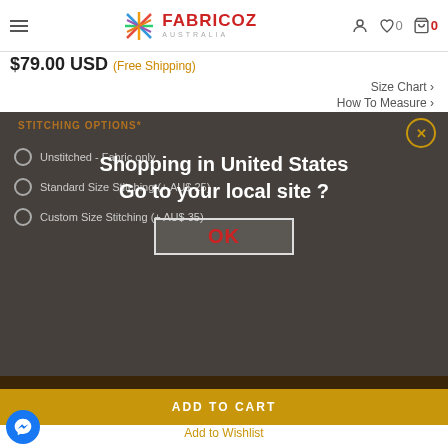FABRICOZ AUSTRALIA — header with hamburger menu, logo, user icon, wishlist (0), cart (0)
$79.00 USD (Free Shipping)
Size Chart ›
How To Measure ›
STITCHING OPTIONS*
Unstitched - Fabric only
Standard Size Stitching (+ AU$ 25)
Custom Size Stitching (+ AU$ 35)
[Figure (screenshot): Modal dialog overlay on e-commerce page saying 'Shopping in United States Go to your local site ?' with an OK button]
ADD TO CART
Add to Wishlist
DETAILS   SHIPPING   - OUR PROMISE -
Fabric and Work: